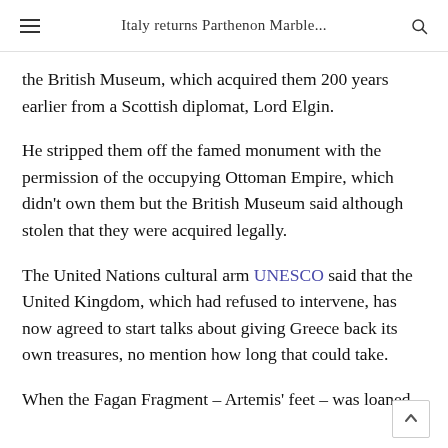Italy returns Parthenon Marble...
the British Museum, which acquired them 200 years earlier from a Scottish diplomat, Lord Elgin.
He stripped them off the famed monument with the permission of the occupying Ottoman Empire, which didn't own them but the British Museum said although stolen that they were acquired legally.
The United Nations cultural arm UNESCO said that the United Kingdom, which had refused to intervene, has now agreed to start talks about giving Greece back its own treasures, no mention how long that could take.
When the Fagan Fragment – Artemis' feet – was loaned